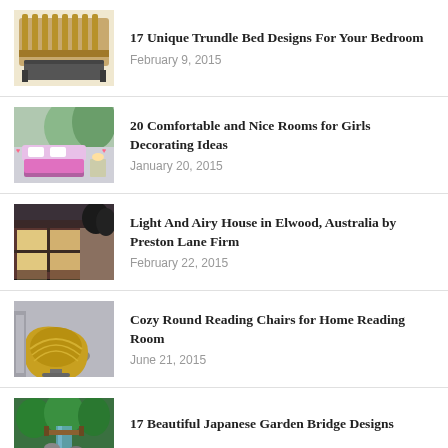17 Unique Trundle Bed Designs For Your Bedroom
February 9, 2015
20 Comfortable and Nice Rooms for Girls Decorating Ideas
January 20, 2015
Light And Airy House in Elwood, Australia by Preston Lane Firm
February 22, 2015
Cozy Round Reading Chairs for Home Reading Room
June 21, 2015
17 Beautiful Japanese Garden Bridge Designs